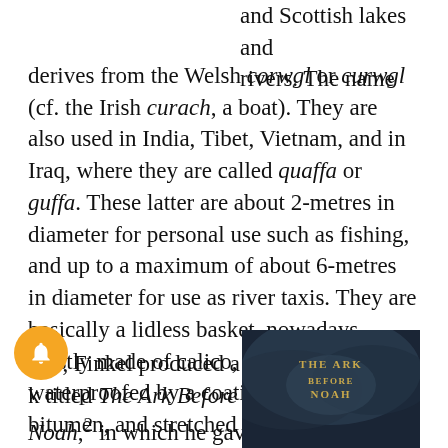and Scottish lakes and rivers. The name derives from the Welsh corwgl or curwgl (cf. the Irish curach, a boat). They are also used in India, Tibet, Vietnam, and in Iraq, where they are called quaffa or guffa. These latter are about 2-metres in diameter for personal use such as fishing, and up to a maximum of about 6-metres in diameter for use as river taxis. They are basically a lidless basket, nowadays mostly made of calico, canvas, or plastic, waterproofed by a coating of tar or bitumen, and stretched over a framework of wooden rods. They are propelled by the user(s) with one or more wide-bladed paddles. They are obviously not suitable for use in wet weather or for coping with stormy ocean conditions.
014, Finkel produced a k titled The Ark Before Noah. 2 in which he gave
[Figure (photo): Book cover showing 'THE ARK BEFORE NOAH' in gold text against a dark stormy sky background]